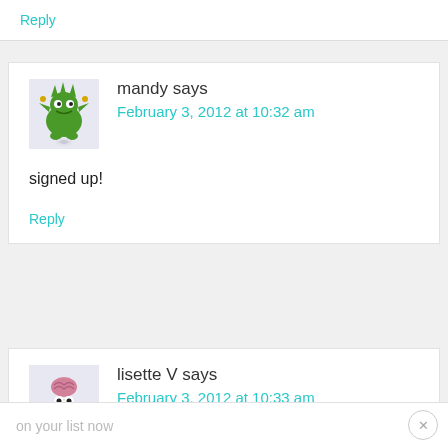Reply
mandy says
February 3, 2012 at 10:32 am
signed up!
Reply
lisette V says
February 3, 2012 at 10:33 am
on your list now